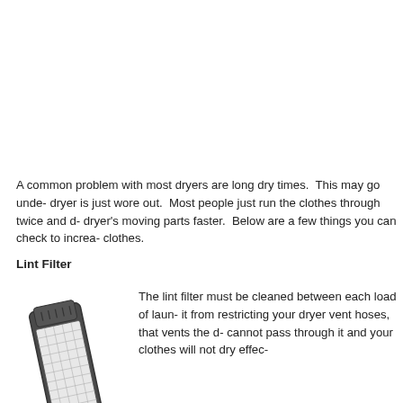A common problem with most dryers are long dry times. This may go unde- dryer is just wore out. Most people just run the clothes through twice and d- dryer's moving parts faster. Below are a few things you can check to increa- clothes.
Lint Filter
[Figure (photo): A photograph of a rectangular dryer lint filter/trap, oriented at a slight angle, with a dark frame and light mesh screen.]
The lint filter must be cleaned between each load of laun- it from restricting your dryer vent hoses, that vents the d- cannot pass through it and your clothes will not dry effec-